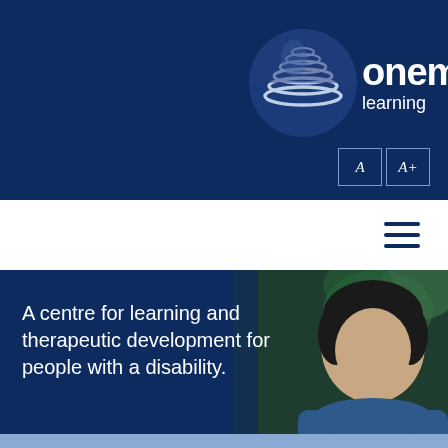[Figure (logo): Onemd Learning logo with circular wave graphic and text 'onemd learning']
[Figure (screenshot): Font size buttons labeled A and A+ in white outlined boxes on dark blue background]
[Figure (infographic): Hamburger menu icon (three horizontal dark blue bars) in white navigation bar]
A centre for learning and therapeutic development for people with a disability.
[Figure (photo): Photo of a person with short dark hair wearing a blue jacket, with green foliage in the background, positioned on the right side of the hero section]